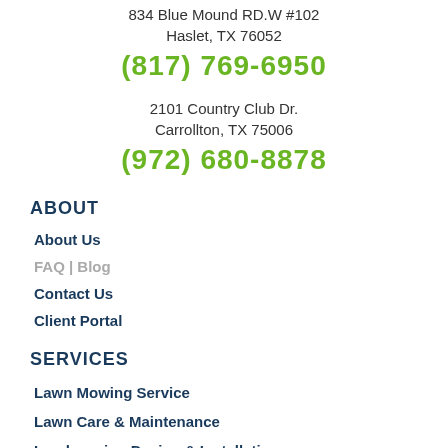834 Blue Mound RD.W #102
Haslet, TX 76052
(817) 769-6950
2101 Country Club Dr.
Carrollton, TX 75006
(972) 680-8878
ABOUT
About Us
FAQ | Blog
Contact Us
Client Portal
SERVICES
Lawn Mowing Service
Lawn Care & Maintenance
Landscaping Design & Installation